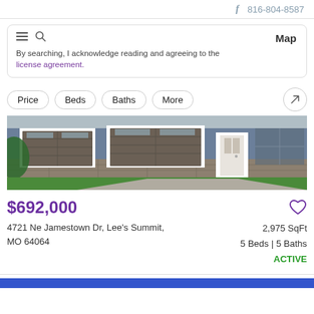f  816-804-8587
By searching, I acknowledge reading and agreeing to the license agreement.
Map
Price
Beds
Baths
More
[Figure (photo): Exterior photo of a modern house with two garage doors, stone accents, white trim, and a front door visible]
$692,000
4721 Ne Jamestown Dr, Lee's Summit, MO 64064
2,975 SqFt
5 Beds | 5 Baths
ACTIVE